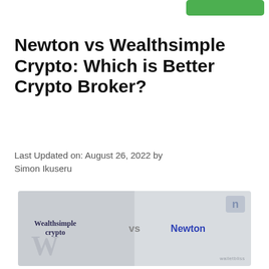[Green button/nav bar top right]
Newton vs Wealthsimple Crypto: Which is Better Crypto Broker?
Last Updated on: August 26, 2022 by Simon Ikuseru
[Figure (illustration): Comparison graphic showing 'Wealthsimple crypto' on the left and 'Newton' on the right with 'vs' in the middle, on a grey background with a Newton logo badge top-right and watermarks.]